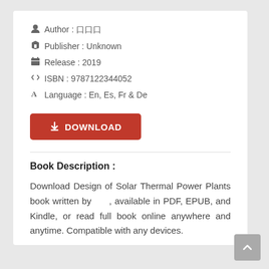Author : 口口口
Publisher : Unknown
Release : 2019
ISBN : 9787122344052
Language : En, Es, Fr & De
[Figure (other): Red download button with arrow icon and text DOWNLOAD]
Book Description :
Download Design of Solar Thermal Power Plants book written by 口口口, available in PDF, EPUB, and Kindle, or read full book online anywhere and anytime. Compatible with any devices.